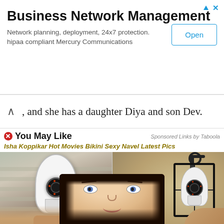[Figure (screenshot): Advertisement banner for Business Network Management. Title: 'Business Network Management'. Description: 'Network planning, deployment, 24x7 protection. hipaa compliant Mercury Communications'. Has an 'Open' button on the right. Top-right has ad icons (triangle and X).]
…, and she has a daughter Diya and son Dev.
You May Like
Sponsored Links by Taboola
Isha Koppikar Hot Movies Bikini Sexy Navel Latest Pics
[Figure (photo): Two photos side by side: Left shows a hand holding a white lightbulb-shaped security camera. Right shows a similar lightbulb security camera installed in a black outdoor lantern fixture.]
This Lightbulb Security Camera is Sweeping Ashburn Now...
$46 Security Camera Makes Doorbell Cams Seem Ancient
Keillini
HomeGuarder
[Figure (photo): Partial photo of a woman with dark hair and blue eyes, smiling, overlaid on the lower portion of the page.]